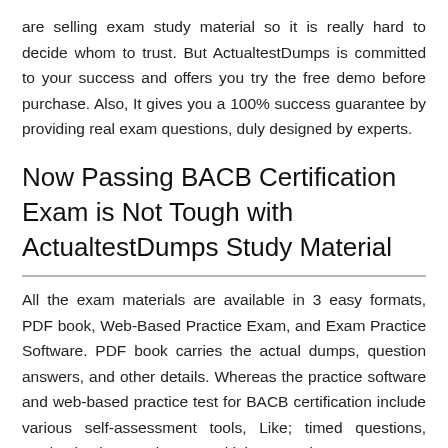are selling exam study material so it is really hard to decide whom to trust. But ActualtestDumps is committed to your success and offers you try the free demo before purchase. Also, It gives you a 100% success guarantee by providing real exam questions, duly designed by experts.
Now Passing BACB Certification Exam is Not Tough with ActualtestDumps Study Material
All the exam materials are available in 3 easy formats, PDF book, Web-Based Practice Exam, and Exam Practice Software. PDF book carries the actual dumps, question answers, and other details. Whereas the practice software and web-based practice test for BACB certification include various self-assessment tools, Like; timed questions, randomized questions, multiple question types, test history, and lots more. You can complete the set of exam questions…